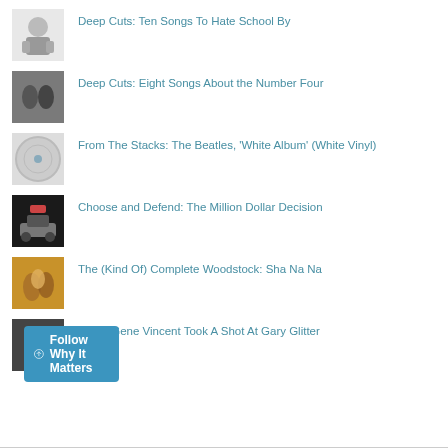Deep Cuts: Ten Songs To Hate School By
Deep Cuts: Eight Songs About the Number Four
From The Stacks: The Beatles, 'White Album' (White Vinyl)
Choose and Defend: The Million Dollar Decision
The (Kind Of) Complete Woodstock: Sha Na Na
When Gene Vincent Took A Shot At Gary Glitter
Follow Why It Matters